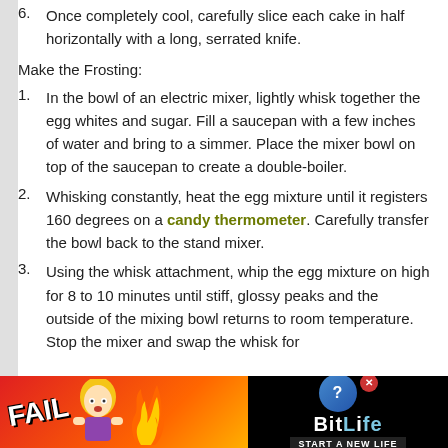6. Once completely cool, carefully slice each cake in half horizontally with a long, serrated knife.
Make the Frosting:
1. In the bowl of an electric mixer, lightly whisk together the egg whites and sugar. Fill a saucepan with a few inches of water and bring to a simmer. Place the mixer bowl on top of the saucepan to create a double-boiler.
2. Whisking constantly, heat the egg mixture until it registers 160 degrees on a candy thermometer. Carefully transfer the bowl back to the stand mixer.
3. Using the whisk attachment, whip the egg mixture on high for 8 to 10 minutes until stiff, glossy peaks and the outside of the mixing bowl returns to room temperature. Stop the mixer and swap the whisk for
[Figure (illustration): Advertisement banner for BitLife game showing 'FAIL' text, cartoon girl, flames, and 'START A NEW LIFE' text on dark background]